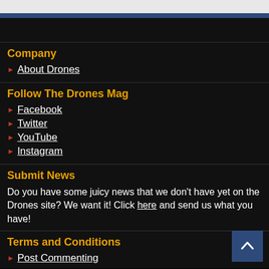Company
About Drones
Follow The Drones Mag
Facebook
Twitter
YouTube
Instagram
Submit News
Do you have some juicy news that we don't have yet on the Drones site? We want it! Click here and send us what you have!
Terms and Conditions
Post Commenting